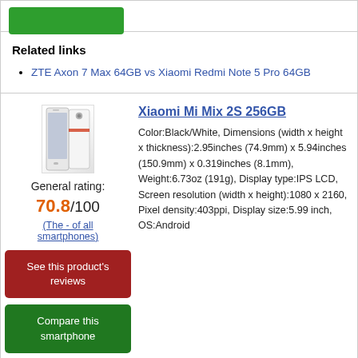Related links
ZTE Axon 7 Max 64GB vs Xiaomi Redmi Note 5 Pro 64GB
[Figure (photo): Xiaomi Mi Mix 2S 256GB smartphone product image showing front and back views]
General rating: 70.8/100
(The - of all smartphones)
See this product's reviews
Compare this smartphone
Xiaomi Mi Mix 2S 256GB
Color:Black/White, Dimensions (width x height x thickness):2.95inches (74.9mm) x 5.94inches (150.9mm) x 0.319inches (8.1mm), Weight:6.73oz (191g), Display type:IPS LCD, Screen resolution (width x height):1080 x 2160, Pixel density:403ppi, Display size:5.99 inch, OS:Android
Related links